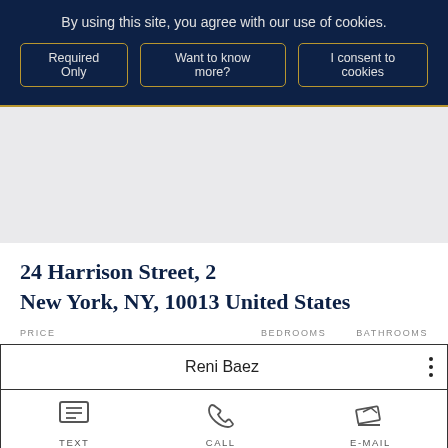By using this site, you agree with our use of cookies.
Required Only | Want to know more? | I consent to cookies
24 Harrison Street, 2
New York, NY, 10013 United States
PRICE    BEDROOMS    BATHROOMS
Reni Baez
TEXT    CALL    E-MAIL